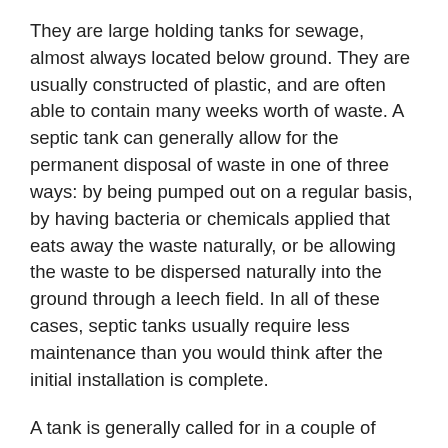They are large holding tanks for sewage, almost always located below ground. They are usually constructed of plastic, and are often able to contain many weeks worth of waste. A septic tank can generally allow for the permanent disposal of waste in one of three ways: by being pumped out on a regular basis, by having bacteria or chemicals applied that eats away the waste naturally, or be allowing the waste to be dispersed naturally into the ground through a leech field. In all of these cases, septic tanks usually require less maintenance than you would think after the initial installation is complete.
A tank is generally called for in a couple of different scenarios. The first and most common is in more rural areas that do not have public city sewer systems available to tap into. The tax dollars that we pay as residents of a city go partially toward providing sanitary services, one of which is maintaining a public sewage treatment plant and sewer system. If, however, your home or business is located too far away from existing city sewer lines, it becomes necessary to dispose of your